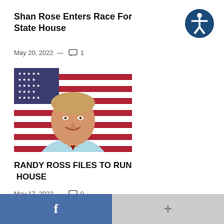Shan Rose Enters Race For State House
May 20, 2022 — 1
[Figure (photo): Portrait photo of a smiling man in a light blue shirt and red tie in front of an American flag]
RANDY ROSS FILES TO RUN HOUSE
May 17, 2022 — 0
[Figure (logo): Accessibility icon — white figure with arms outstretched in a circle on dark blue background]
f  +